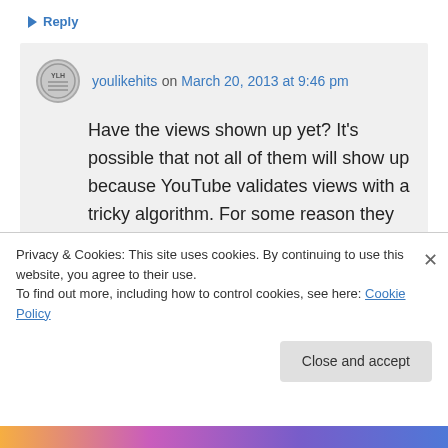↳ Reply
youlikehits on March 20, 2013 at 9:46 pm
Have the views shown up yet? It's possible that not all of them will show up because YouTube validates views with a tricky algorithm. For some reason they don't see some views from YLH as legit even though they certainly are.
Privacy & Cookies: This site uses cookies. By continuing to use this website, you agree to their use.
To find out more, including how to control cookies, see here: Cookie Policy
Close and accept